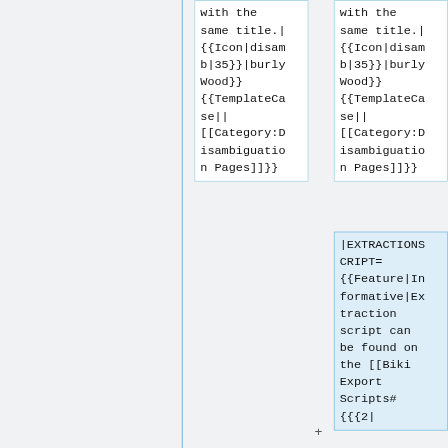with the same title.|{{Icon|disamb|35}}|burlyWood}}{{TemplateCase||[[Category:Disambiguation Pages]]}}
with the same title.|{{Icon|disamb|35}}|burlyWood}}{{TemplateCase||[[Category:Disambiguation Pages]]}}
|EXTRACTIONSCRIPT={{Feature|Informative|Extraction script can be found on the [[Biki Export Scripts#{{{2|